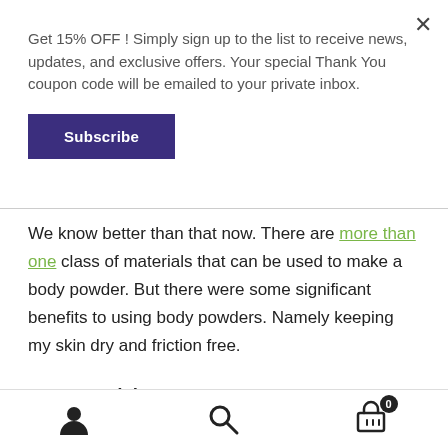Get 15% OFF ! Simply sign up to the list to receive news, updates, and exclusive offers. Your special Thank You coupon code will be emailed to your private inbox.
Subscribe
We know better than that now. There are more than one class of materials that can be used to make a body powder. But there were some significant benefits to using body powders. Namely keeping my skin dry and friction free.
Some things you never outgrow
account | search | cart 0